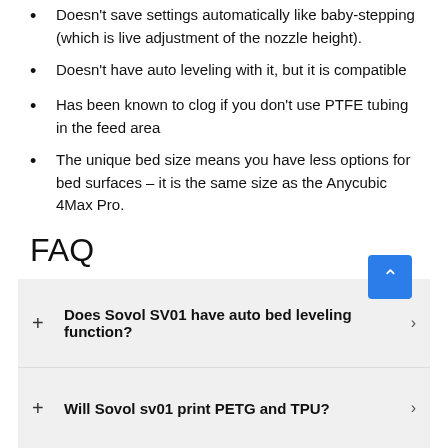Doesn't save settings automatically like baby-stepping (which is live adjustment of the nozzle height).
Doesn't have auto leveling with it, but it is compatible
Has been known to clog if you don't use PTFE tubing in the feed area
The unique bed size means you have less options for bed surfaces – it is the same size as the Anycubic 4Max Pro.
FAQ
Does Sovol SV01 have auto bed leveling function?
Will Sovol sv01 print PETG and TPU?